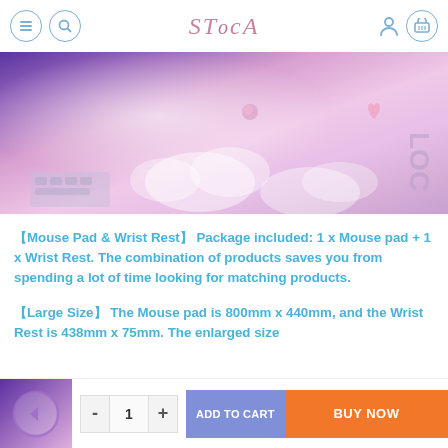STOCA - online store header with navigation icons
[Figure (photo): Close-up product photo of a pink/purple mouse pad and wrist rest with decorative cloud and floral patterns]
【Mouse Pad & Wrist Rest】 Package included: 1 x Mouse pad + 1 x Wrist Rest. The combination of products saves you from spending a lot of time looking for matching products.
【Large Size】 The Mouse pad is 800mm x 440mm, and the Wrist Rest is 438mm x 75mm. The enlarged size
ADD TO CART | BUY NOW | quantity selector: - 1 +